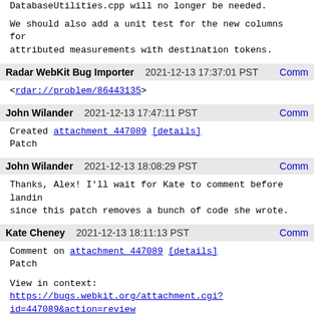DatabaseUtilities.cpp will no longer be needed.
We should also add a unit test for the new columns for attributed measurements with destination tokens.
Radar WebKit Bug Importer   2021-12-13 17:37:01 PST   Comm
<rdar://problem/86443135>
John Wilander   2021-12-13 17:47:11 PST   Comm
Created attachment 447089 [details]
Patch
John Wilander   2021-12-13 18:08:29 PST   Comm
Thanks, Alex! I'll wait for Kate to comment before landing since this patch removes a bunch of code she wrote.
Kate Cheney   2021-12-13 18:11:13 PST   Comm
Comment on attachment 447089 [details]
Patch
View in context: https://bugs.webkit.org/attachment.cgi?id=447089&action=review